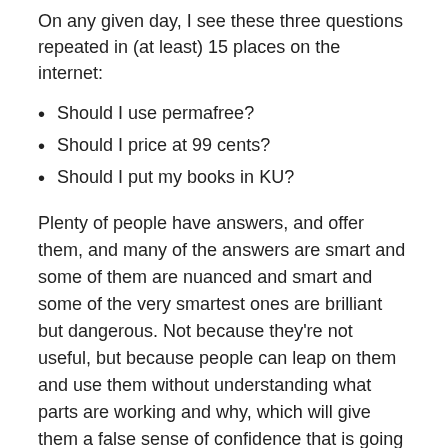On any given day, I see these three questions repeated in (at least) 15 places on the internet:
Should I use permafree?
Should I price at 99 cents?
Should I put my books in KU?
Plenty of people have answers, and offer them, and many of the answers are smart and some of them are nuanced and smart and some of the very smartest ones are brilliant but dangerous. Not because they're not useful, but because people can leap on them and use them without understanding what parts are working and why, which will give them a false sense of confidence that is going to sting later on when the market shifts. (Believe me. I've felt the sting.)